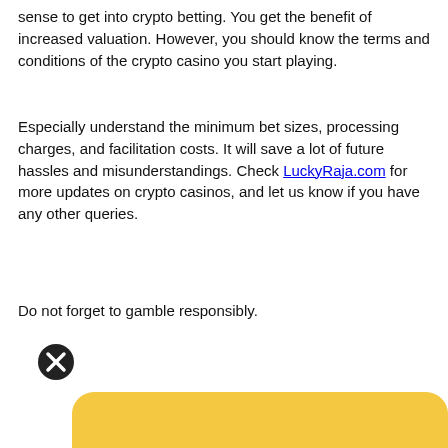sense to get into crypto betting. You get the benefit of increased valuation. However, you should know the terms and conditions of the crypto casino you start playing.
Especially understand the minimum bet sizes, processing charges, and facilitation costs. It will save a lot of future hassles and misunderstandings. Check LuckyRaja.com for more updates on crypto casinos, and let us know if you have any other queries.
Do not forget to gamble responsibly.
[Figure (illustration): Black circle with white X close button icon, and a large yellow rounded rectangle below it]